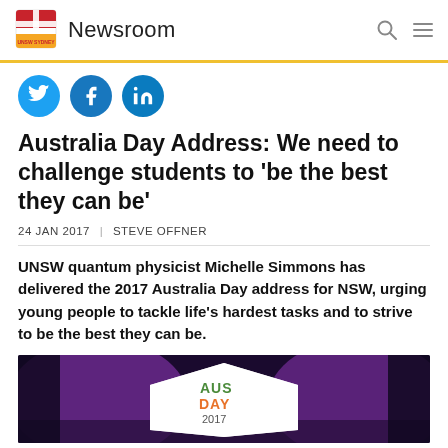UNSW Sydney Newsroom
[Figure (logo): UNSW Sydney shield logo with 'UNSW SYDNEY' text and 'Newsroom' label]
Australia Day Address: We need to challenge students to 'be the best they can be'
24 JAN 2017  |  STEVE OFFNER
UNSW quantum physicist Michelle Simmons has delivered the 2017 Australia Day address for NSW, urging young people to tackle life's hardest tasks and to strive to be the best they can be.
[Figure (photo): Australia Day 2017 event stage with purple lighting and AUS DAY 2017 sign visible on a podium]